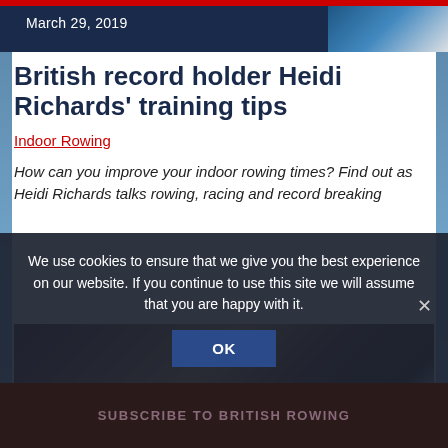March 29, 2019
British record holder Heidi Richards' training tips
Indoor Rowing
How can you improve your indoor rowing times? Find out as Heidi Richards talks rowing, racing and record breaking
[Figure (photo): Photo of Heidi Richards in a gym/storage room with bicycles and equipment in the background]
We use cookies to ensure that we give you the best experience on our website. If you continue to use this site we will assume that you are happy with it.
SUBSCRIBE TO BRITISH ROWING